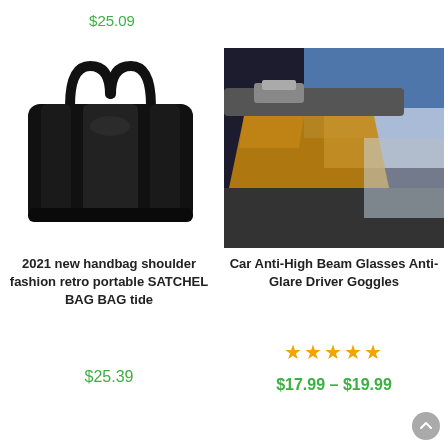$25.09
[Figure (photo): Black leather handbag/tote with two top handles]
[Figure (photo): Car sun visor with amber anti-glare driver goggle/lens attached]
2021 new handbag shoulder fashion retro portable SATCHEL BAG BAG tide
Car Anti-High Beam Glasses Anti-Glare Driver Goggles
★★★★★
$25.39
$17.99 – $19.99